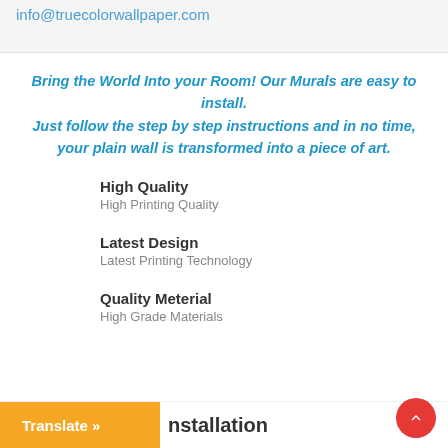info@truecolorwallpaper.com
Bring the World Into your Room! Our Murals are easy to install. Just follow the step by step instructions and in no time, your plain wall is transformed into a piece of art.
High Quality
High Printing Quality
Latest Design
Latest Printing Technology
Quality Meterial
High Grade Materials
Translate » ...nstallation